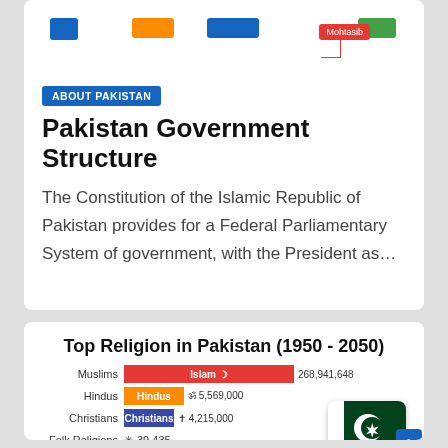[Figure (organizational-chart): Partial organizational chart showing government structure with colored boxes including Mohtasib node in red]
ABOUT PAKISTAN
Pakistan Government Structure
The Constitution of the Islamic Republic of Pakistan provides for a Federal Parliamentary System of government, with the President as…
[Figure (bar-chart): Top Religion in Pakistan (1950 - 2050)]